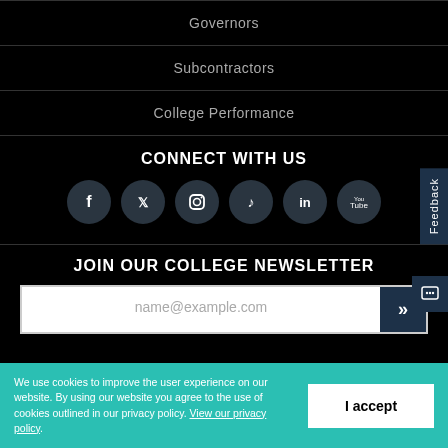Governors
Subcontractors
College Performance
CONNECT WITH US
[Figure (infographic): Row of six social media icons: Facebook, Twitter, Instagram, TikTok, LinkedIn, YouTube — each in a dark circular button]
JOIN OUR COLLEGE NEWSLETTER
name@example.com (email input placeholder)
We use cookies to improve the user experience on our website. By using our website you agree to the use of cookies outlined in our privacy policy. View our privacy policy.
I accept